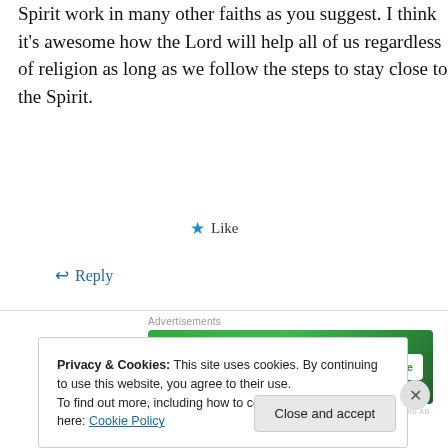Spirit work in many other faiths as you suggest. I think it's awesome how the Lord will help all of us regardless of religion as long as we follow the steps to stay close to the Spirit.
★ Like
↩ Reply
Advertisements
[Figure (screenshot): Jetpack advertisement banner with green background showing Jetpack logo and 'Back up your site' button]
REPORT THIS AD
Privacy & Cookies: This site uses cookies. By continuing to use this website, you agree to their use.
To find out more, including how to control cookies, see here: Cookie Policy
Close and accept